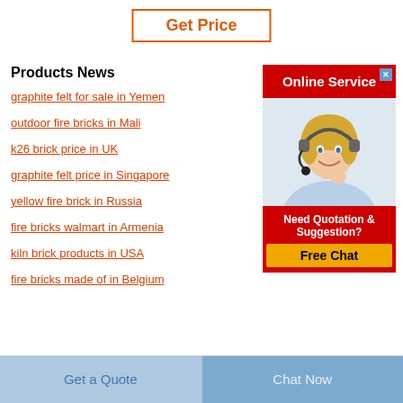Get Price
Products News
graphite felt for sale in Yemen
outdoor fire bricks in Mali
k26 brick price in UK
graphite felt price in Singapore
yellow fire brick in Russia
fire bricks walmart in Armenia
kiln brick products in USA
fire bricks made of in Belgium
[Figure (illustration): Online Service widget with red header, customer service representative photo, and Free Chat button]
Get a Quote
Chat Now